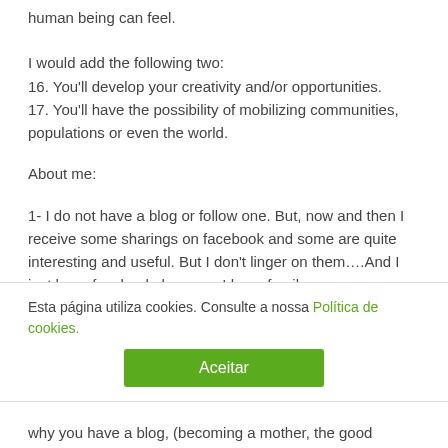human being can feel.
I would add the following two:
16. You'll develop your creativity and/or opportunities.
17. You'll have the possibility of mobilizing communities, populations or even the world.
About me:
1- I do not have a blog or follow one. But, now and then I receive some sharings on facebook and some are quite interesting and useful. But I don't linger on them….And I just have facebook. because I have family
Esta página utiliza cookies. Consulte a nossa Política de cookies.
Aceitar
why you have a blog, (becoming a mother, the good